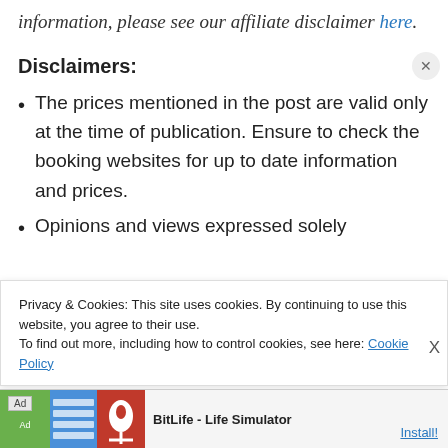information, please see our affiliate disclaimer here.
Disclaimers:
The prices mentioned in the post are valid only at the time of publication. Ensure to check the booking websites for up to date information and prices.
Opinions and views expressed solely
Privacy & Cookies: This site uses cookies. By continuing to use this website, you agree to their use. To find out more, including how to control cookies, see here: Cookie Policy
[Figure (screenshot): Advertisement banner for BitLife - Life Simulator app with Install button]